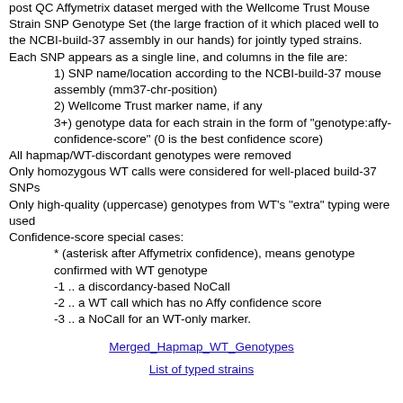post QC Affymetrix dataset merged with the Wellcome Trust Mouse Strain SNP Genotype Set (the large fraction of it which placed well to the NCBI-build-37 assembly in our hands) for jointly typed strains. Each SNP appears as a single line, and columns in the file are:
1) SNP name/location according to the NCBI-build-37 mouse assembly (mm37-chr-position)
2) Wellcome Trust marker name, if any
3+) genotype data for each strain in the form of "genotype:affy-confidence-score" (0 is the best confidence score)
All hapmap/WT-discordant genotypes were removed
Only homozygous WT calls were considered for well-placed build-37 SNPs
Only high-quality (uppercase) genotypes from WT's "extra" typing were used
Confidence-score special cases:
* (asterisk after Affymetrix confidence), means genotype confirmed with WT genotype
-1 .. a discordancy-based NoCall
-2 .. a WT call which has no Affy confidence score
-3 .. a NoCall for an WT-only marker.
Merged_Hapmap_WT_Genotypes
List of typed strains